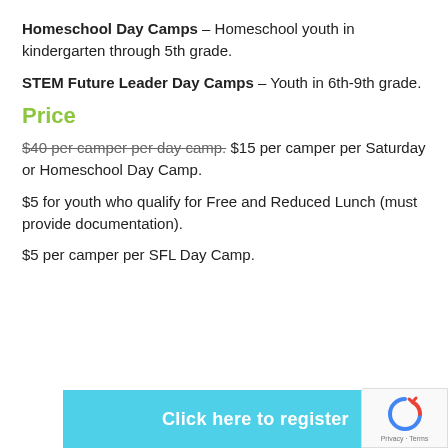Homeschool Day Camps – Homeschool youth in kindergarten through 5th grade.
STEM Future Leader Day Camps – Youth in 6th-9th grade.
Price
$40 per camper per day camp. $15 per camper per Saturday or Homeschool Day Camp.
$5 for youth who qualify for Free and Reduced Lunch (must provide documentation).
$5 per camper per SFL Day Camp.
Click here to register